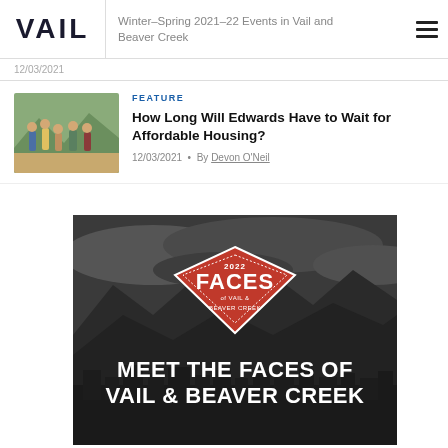VAIL | Winter–Spring 2021–22 Events in Vail and Beaver Creek
12/03/2021
FEATURE
How Long Will Edwards Have to Wait for Affordable Housing?
12/03/2021 • By Devon O'Neil
[Figure (photo): Black and white aerial/landscape photo of Vail & Beaver Creek mountain town with a red diamond badge reading '2022 FACES of Vail & Beaver Creek' and bold white text 'MEET THE FACES OF VAIL & BEAVER CREEK']